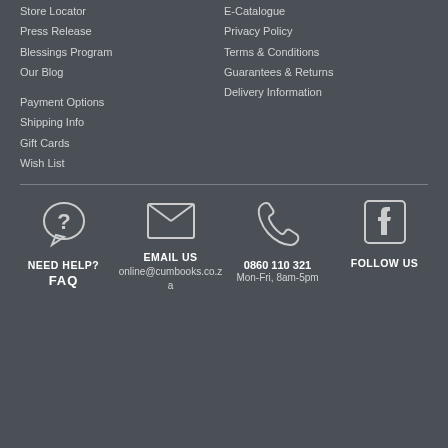Store Locator
Press Release
Blessings Program
Our Blog
Payment Options
Shipping Info
Gift Cards
Wish List
E-Catalogue
Privacy Policy
Terms & Conditions
Guarantees & Returns
Delivery Information
[Figure (illustration): Speech bubble with question mark icon for FAQ/Help]
NEED HELP?
FAQ
[Figure (illustration): Envelope/email icon]
EMAIL US
online@cumbooks.co.za
[Figure (illustration): Phone/telephone icon]
0860 110 321
Mon-Fri, 8am-5pm
[Figure (illustration): Facebook logo icon]
FOLLOW US